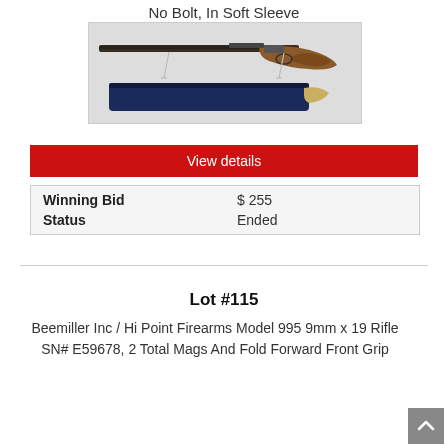No Bolt, In Soft Sleeve
[Figure (photo): Photo of a bolt-action rifle with wooden stock displayed on a stand, with a blue soft sleeve bag below it]
View details
| Winning Bid | $ 255 |
| Status | Ended |
Lot #115
Beemiller Inc / Hi Point Firearms Model 995 9mm x 19 Rifle SN# E59678, 2 Total Mags And Fold Forward Front Grip